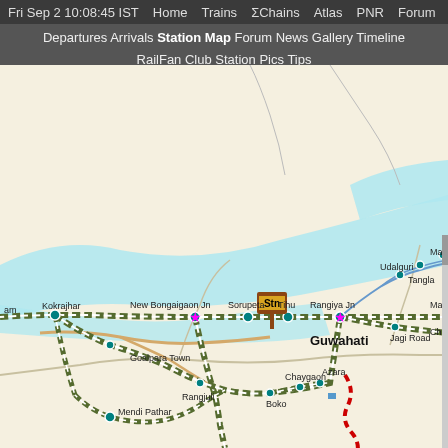Fri Sep 2 10:08:45 IST  Home  Trains  ΣChains  Atlas  PNR  Forum  Quiz Fee
Departures  Arrivals  Station Map  Forum  News  Gallery  Timeline  RailFan Club  Station Pics  Tips
[Figure (map): Indian railway station map showing rail routes near Guwahati, Assam. Shows stations including New Bongaigaon Jn, Kokrajhar, Sorupeta, Tihu, Rangiya Jn, Guwahati, Goalpara Town, Rangjuli, Boko, Chaygaon, Azara, Jagi Road, Mendi Pathar, Udalguri, Tangla, Majbat. Rail lines shown in dotted green/white pattern. A station marker (Stn) shown between Sorupeta and Tihu. Cyan/blue shaded area represents the Brahmaputra river. Red dashed zigzag line shown southeast of Guwahati. Pink stars at New Bongaigaon Jn and Rangiya Jn.]